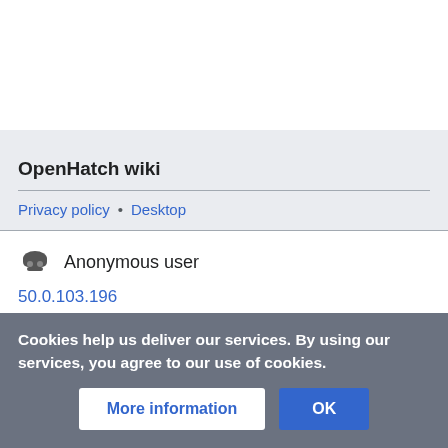OpenHatch wiki
Privacy policy • Desktop
Anonymous user
50.0.103.196
Cookies help us deliver our services. By using our services, you agree to our use of cookies.
More information
OK